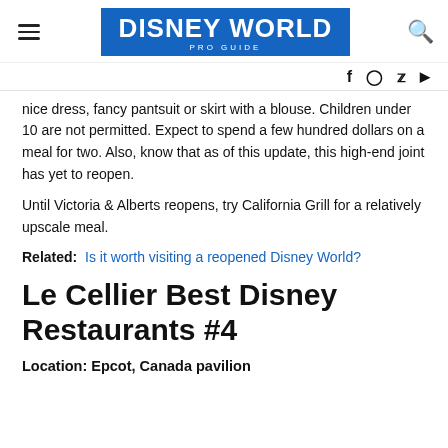DISNEY WORLD PRO GUIDE
nice dress, fancy pantsuit or skirt with a blouse. Children under 10 are not permitted. Expect to spend a few hundred dollars on a meal for two. Also, know that as of this update, this high-end joint has yet to reopen.
Until Victoria & Alberts reopens, try California Grill for a relatively upscale meal.
Related: Is it worth visiting a reopened Disney World?
Le Cellier Best Disney Restaurants #4
Location: Epcot, Canada pavilion